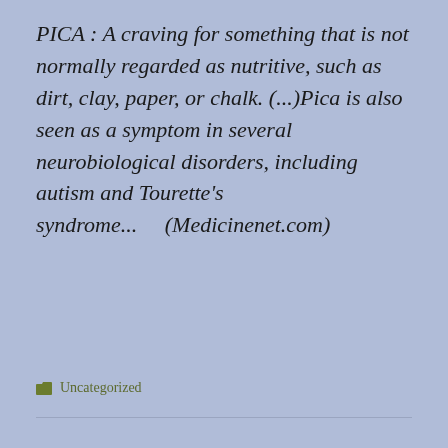PICA : A craving for something that is not normally regarded as nutritive, such as dirt, clay, paper, or chalk. (...)Pica is also seen as a symptom in several neurobiological disorders, including autism and Tourette's syndrome...     (Medicinenet.com)
Uncategorized